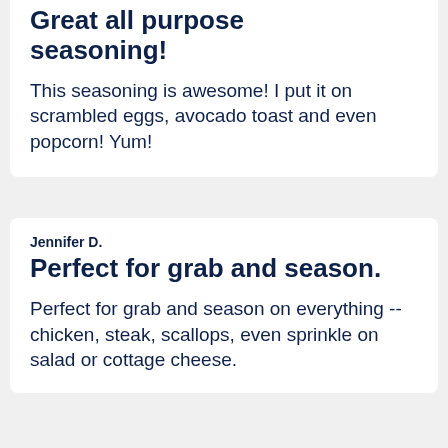Great all purpose seasoning!
This seasoning is awesome! I put it on scrambled eggs, avocado toast and even popcorn! Yum!
Jennifer D.
Perfect for grab and season.
Perfect for grab and season on everything -- chicken, steak, scallops, even sprinkle on salad or cottage cheese.